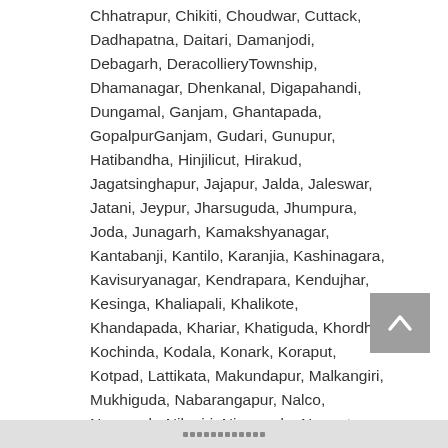Chhatrapur, Chikiti, Choudwar, Cuttack, Dadhapatna, Daitari, Damanjodi, Debagarh, DeracollieryTownship, Dhamanagar, Dhenkanal, Digapahandi, Dungamal, Ganjam, Ghantapada, GopalpurGanjam, Gudari, Gunupur, Hatibandha, Hinjilicut, Hirakud, Jagatsinghapur, Jajapur, Jalda, Jaleswar, Jatani, Jeypur, Jharsuguda, Jhumpura, Joda, Junagarh, Kamakshyanagar, Kantabanji, Kantilo, Karanjia, Kashinagara, Kavisuryanagar, Kendrapara, Kendujhar, Kesinga, Khaliapali, Khalikote, Khandapada, Khariar, Khatiguda, Khordha, Kochinda, Kodala, Konark, Koraput, Kotpad, Lattikata, Makundapur, Malkangiri, Mukhiguda, Nabarangapur, Nalco, Nayagarh, Nilagiri, Nimapada, Nuapatna, Padmapur, Panposh, Paradip, Parlakhemundi, Patnagarh, Pattamundai, Phulabani, Pipili, Polasara, Pratapsasan, Puri, Parusottampur, Rairangpur, Rajagangapur, R[...] urkela,